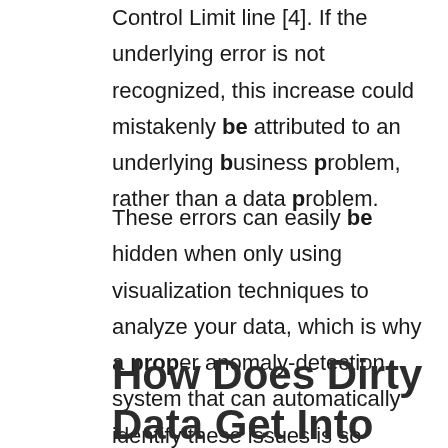Control Limit line [4]. If the underlying error is not recognized, this increase could mistakenly be attributed to an underlying business problem, rather than a data problem.
These errors can easily be hidden when only using visualization techniques to analyze your data, which is why a proper anomaly-detection system that can automatically identify these issues is so important.
How Does Dirty Data Get Into Your System ?